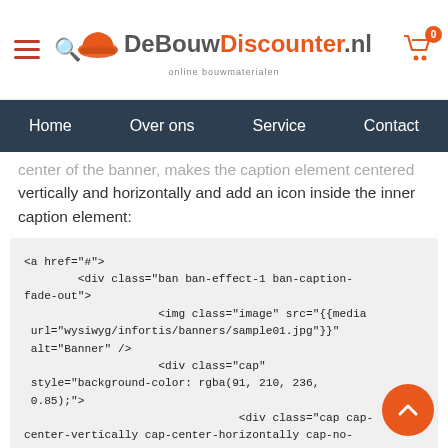DeBouwDiscounter.nl - online bouwmaterialen | Home | Over ons | Service | Contact
center of the banner, makes the caption element centered vertically and horizontally and add an icon inside the inner caption element:
<a href="#">
        <div class="ban ban-effect-1 ban-caption-fade-out">
                    <img class="image" src="{{media url="wysiwyg/infortis/banners/sample01.jpg"}}" alt="Banner" />
                    <div class="cap" style="background-color: rgba(91, 210, 236, 0.85);">
                                <div class="cap cap-center-vertically cap-center-horizontally cap-no-bg">